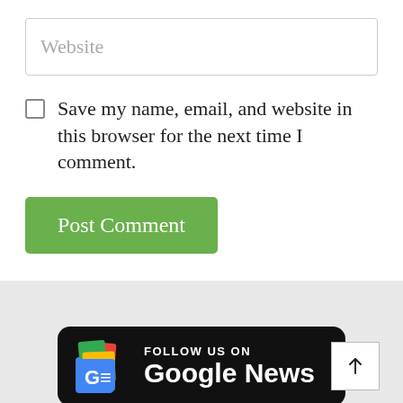Website
Save my name, email, and website in this browser for the next time I comment.
Post Comment
[Figure (logo): Follow us on Google News badge with Google News icon and upward arrow button]